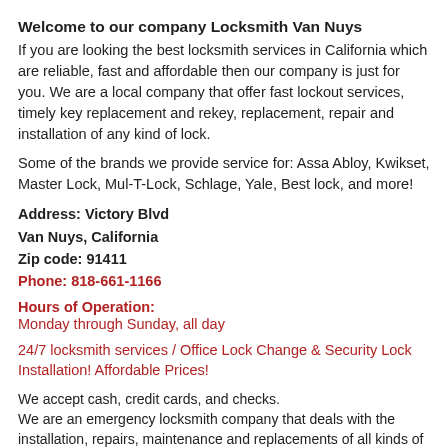Welcome to our company Locksmith Van Nuys
If you are looking the best locksmith services in California which are reliable, fast and affordable then our company is just for you. We are a local company that offer fast lockout services, timely key replacement and rekey, replacement, repair and installation of any kind of lock.
Some of the brands we provide service for: Assa Abloy, Kwikset, Master Lock, Mul-T-Lock, Schlage, Yale, Best lock, and more!
Address: Victory Blvd
Van Nuys, California
Zip code: 91411
Phone: 818-661-1166
Hours of Operation:
Monday through Sunday, all day
24/7 locksmith services / Office Lock Change & Security Lock Installation! Affordable Prices!
We accept cash, credit cards, and checks.
We are an emergency locksmith company that deals with the installation, repairs, maintenance and replacements of all kinds of locks. We also offer fast emergency lockout services for residences and automobiles.